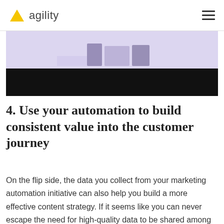agility
[Figure (photo): Partially visible image with a light purple/lavender upper section showing some objects and a black lower band, cropped at top and bottom]
4. Use your automation to build consistent value into the customer journey
On the flip side, the data you collect from your marketing automation initiative can also help you build a more effective content strategy. If it seems like you can never escape the need for high-quality data to be shared among systems it's because you